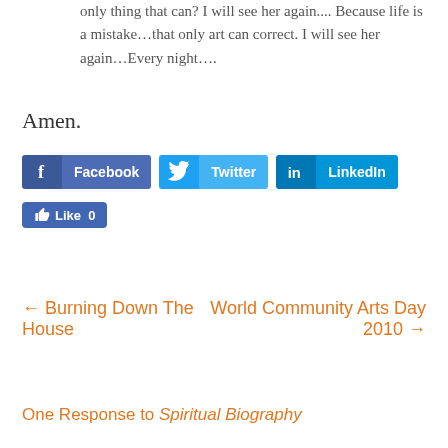only thing that can? I will see her again.... Because life is a mistake...that only art can correct. I will see her again...Every night....
Amen.
[Figure (other): Social sharing buttons: Facebook, Twitter, LinkedIn, and a Facebook Like button showing 0 likes]
← Burning Down The House
World Community Arts Day 2010 →
One Response to Spiritual Biography